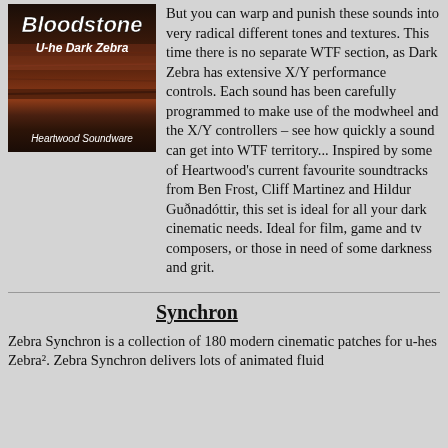[Figure (illustration): Album cover for 'Bloodstone U-he Dark Zebra' by Heartwood Soundware. Dark reddish-brown rocky/earthy texture with bold white italic text 'Bloodstone' at top and 'U-he Dark Zebra' below it, and 'Heartwood Soundware' at the bottom in italic white.]
But you can warp and punish these sounds into very radical different tones and textures. This time there is no separate WTF section, as Dark Zebra has extensive X/Y performance controls. Each sound has been carefully programmed to make use of the modwheel and the X/Y controllers – see how quickly a sound can get into WTF territory... Inspired by some of Heartwood's current favourite soundtracks from Ben Frost, Cliff Martinez and Hildur Guðnadóttir, this set is ideal for all your dark cinematic needs. Ideal for film, game and tv composers, or those in need of some darkness and grit.
Synchron
Zebra Synchron is a collection of 180 modern cinematic patches for u-hes Zebra². Zebra Synchron delivers lots of animated fluid